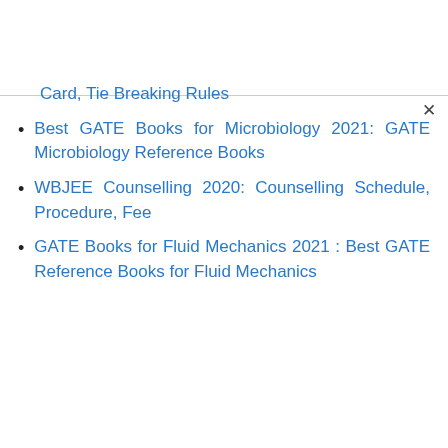Card, Tie Breaking Rules
Best GATE Books for Microbiology 2021: GATE Microbiology Reference Books
WBJEE Counselling 2020: Counselling Schedule, Procedure, Fee
GATE Books for Fluid Mechanics 2021 : Best GATE Reference Books for Fluid Mechanics